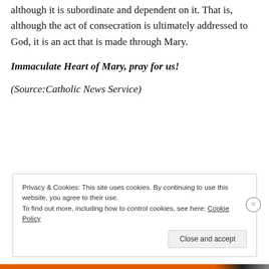although it is subordinate and dependent on it. That is, although the act of consecration is ultimately addressed to God, it is an act that is made through Mary.
Immaculate Heart of Mary, pray for us!
(Source:Catholic News Service)
Privacy & Cookies: This site uses cookies. By continuing to use this website, you agree to their use. To find out more, including how to control cookies, see here: Cookie Policy
Close and accept